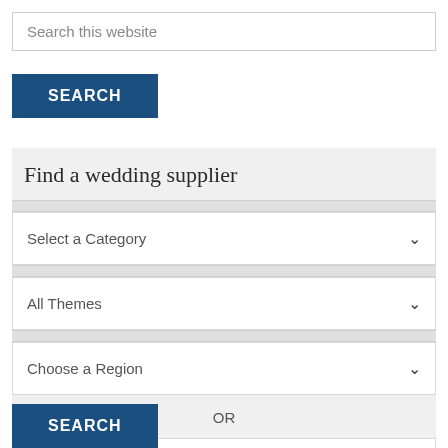Search this website
SEARCH
Find a wedding supplier
Select a Category
All Themes
Choose a Region
OR
Type Business Name
SEARCH